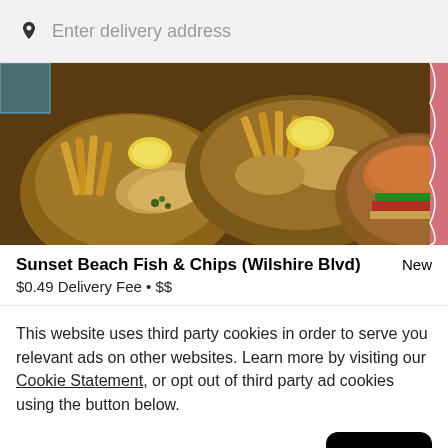Enter delivery address
[Figure (photo): Food photo showing bowls of fish and chips with lemon wedges and a burger, viewed from above on a wooden table with colorful tablecloth]
Sunset Beach Fish & Chips (Wilshire Blvd)
New
$0.49 Delivery Fee • $$
This website uses third party cookies in order to serve you relevant ads on other websites. Learn more by visiting our Cookie Statement, or opt out of third party ad cookies using the button below.
Opt out
Got it